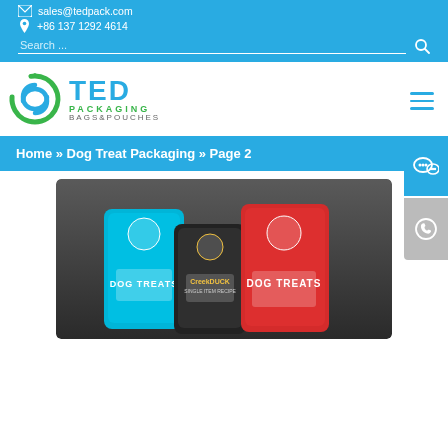sales@tedpack.com | +86 137 1292 4614 | Search ...
[Figure (logo): TED Packaging Bags & Pouches logo with blue swirl icon]
Home » Dog Treat Packaging » Page 2
[Figure (photo): Three dog treat pouches — teal, black, and red — displayed on a dark background]